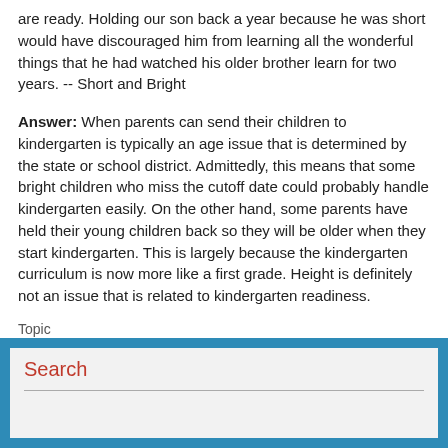are ready. Holding our son back a year because he was short would have discouraged him from learning all the wonderful things that he had watched his older brother learn for two years. -- Short and Bright
Answer: When parents can send their children to kindergarten is typically an age issue that is determined by the state or school district. Admittedly, this means that some bright children who miss the cutoff date could probably handle kindergarten easily. On the other hand, some parents have held their young children back so they will be older when they start kindergarten. This is largely because the kindergarten curriculum is now more like a first grade. Height is definitely not an issue that is related to kindergarten readiness.
Topic
Readiness
Search